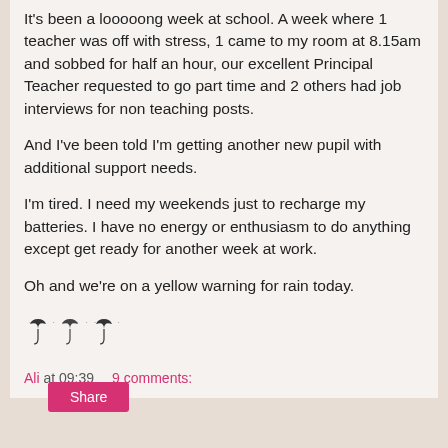It's been a looooong week at school.  A week where 1 teacher was off with stress, 1 came to my room at 8.15am and sobbed for half an hour, our excellent Principal Teacher requested to go part time and 2 others had job interviews for non teaching posts.
And I've been told I'm getting another new pupil with additional support needs.
I'm tired.  I need my weekends just to recharge my batteries.  I have no energy or enthusiasm to do anything except get ready for another week at work.
Oh and we're on a yellow warning for rain today.
[Figure (illustration): Three small umbrella emoji icons with rain drops above them]
Ali at 09:39    9 comments:
Share